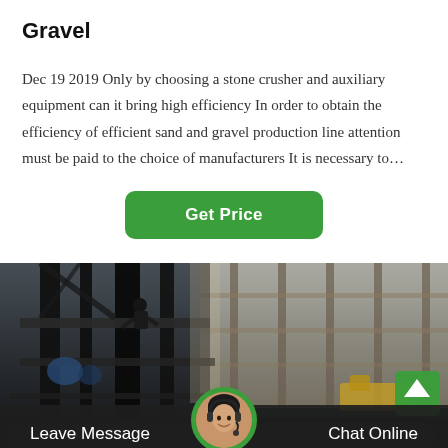Gravel
Dec 19 2019 Only by choosing a stone crusher and auxiliary equipment can it bring high efficiency In order to obtain the efficiency of efficient sand and gravel production line attention must be paid to the choice of manufacturers It is necessary to…
Get Price
[Figure (photo): Industrial manufacturing/mining facility interior showing heavy machinery, steel structures, a worker on an elevated platform, conveyor belts at the bottom, and warehouse-style architecture on the right.]
Leave Message
Chat Online